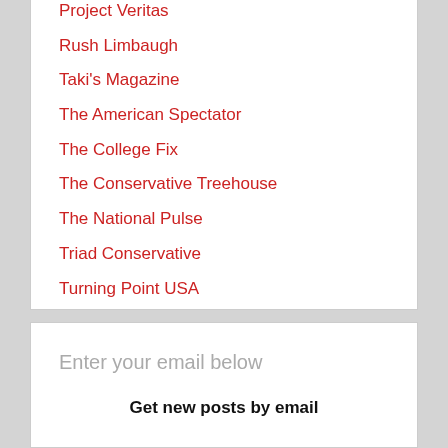Project Veritas
Rush Limbaugh
Taki's Magazine
The American Spectator
The College Fix
The Conservative Treehouse
The National Pulse
Triad Conservative
Turning Point USA
Enter your email below
Get new posts by email